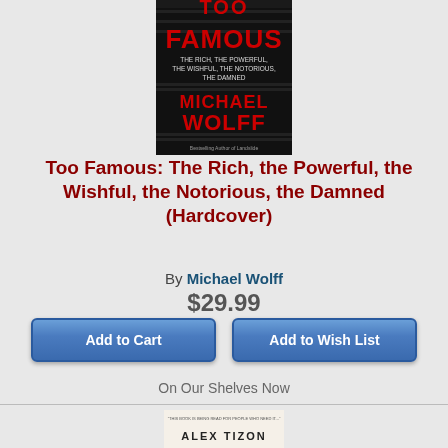[Figure (photo): Book cover of 'Too Famous: The Rich, The Powerful, The Wishful, The Notorious, The Damned' by Michael Wolff. Dark background with red and white text, bold graphic design.]
Too Famous: The Rich, the Powerful, the Wishful, the Notorious, the Damned (Hardcover)
By Michael Wolff
$29.99
Add to Cart
Add to Wish List
On Our Shelves Now
[Figure (photo): Book cover of 'Invisible People: Stories of Lives on the Margins' by Alex Tizon. Light colored cover with two figures standing.]